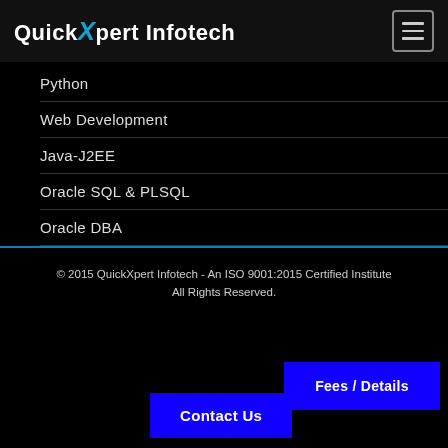QuickXpert Infotech
Python
Web Development
Java-J2EE
Oracle SQL & PLSQL
Oracle DBA
Software Testing
© 2015 QuickXpert Infotech - An ISO 9001:2015 Certified Institute
All Rights Reserved.
Fees / Details
Contact Us